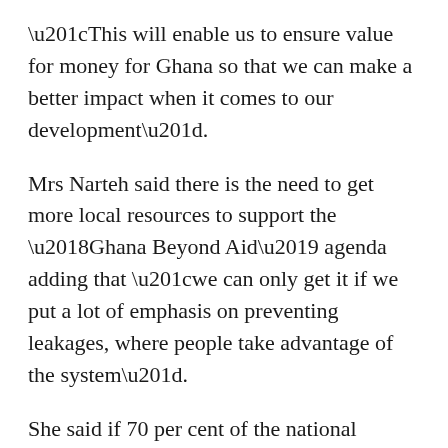“This will enable us to ensure value for money for Ghana so that we can make a better impact when it comes to our development”.
Mrs Narteh said there is the need to get more local resources to support the ‘Ghana Beyond Aid’ agenda adding that “we can only get it if we put a lot of emphasis on preventing leakages, where people take advantage of the system”.
She said if 70 per cent of the national budget goes into procurement and Ghanaians are able to seal the leakages in procurement, it means that they are going to protect that chunk of public money that would go into procurement and it would